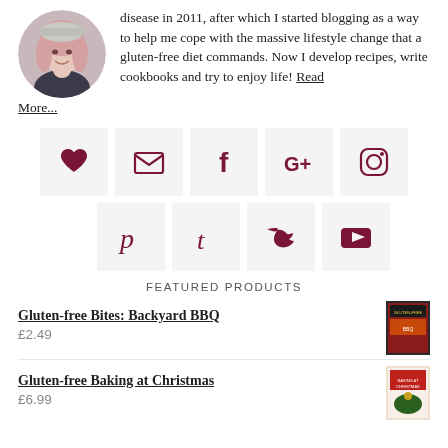[Figure (photo): Round profile photo of a young woman with long pink/blonde hair wearing a grey knit hat, smiling]
disease in 2011, after which I started blogging as a way to help me cope with the massive lifestyle change that a gluten-free diet commands. Now I develop recipes, write cookbooks and try to enjoy life! Read More...
[Figure (infographic): Social media icon grid: Row 1 - heart/favorites, email/envelope, Facebook, Google+, Instagram. Row 2 - Pinterest, Tumblr, Twitter, YouTube]
FEATURED PRODUCTS
Gluten-free Bites: Backyard BBQ
£2.49
[Figure (photo): Small thumbnail of book cover for Gluten-free Bites: Backyard BBQ]
Gluten-free Baking at Christmas
£6.99
[Figure (photo): Small thumbnail of book cover for Gluten-free Baking at Christmas]